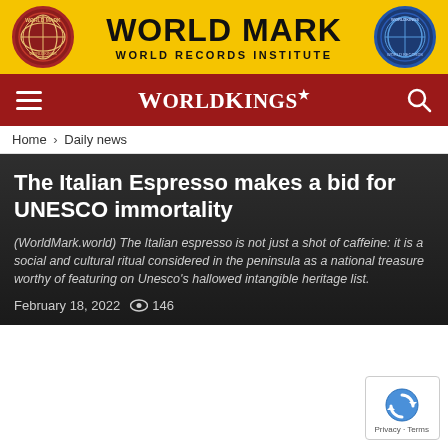WORLD MARK WORLD RECORDS INSTITUTE
WORLDKINGS
Home › Daily news
The Italian Espresso makes a bid for UNESCO immortality
(WorldMark.world) The Italian espresso is not just a shot of caffeine: it is a social and cultural ritual considered in the peninsula as a national treasure worthy of featuring on Unesco's hallowed intangible heritage list.
February 18, 2022   👁 146